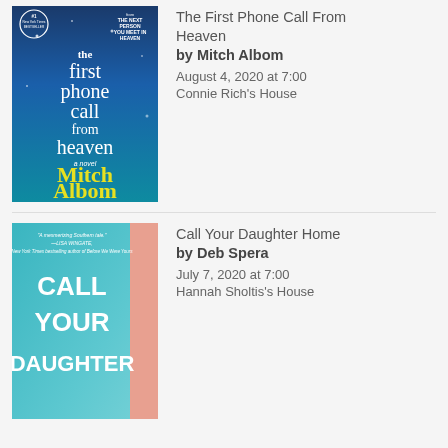[Figure (illustration): Book cover of 'The First Phone Call From Heaven' by Mitch Albom. Blue gradient background with white serif text for the title and yellow text for the author name. Badge reads #1 New York Times Bestseller.]
The First Phone Call From Heaven
by Mitch Albom
August 4, 2020 at 7:00
Connie Rich's House
[Figure (illustration): Book cover of 'Call Your Daughter Home' by Deb Spera. Teal/blue gradient with white bold text for title and a pink/salmon right panel. Quote from Lisa Wingate at the top.]
Call Your Daughter Home
by Deb Spera
July 7, 2020 at 7:00
Hannah Sholtis's House